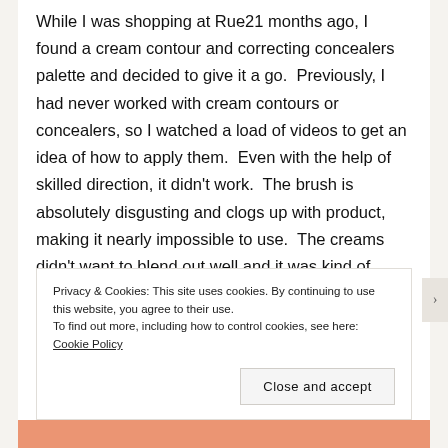While I was shopping at Rue21 months ago, I found a cream contour and correcting concealers palette and decided to give it a go.  Previously, I had never worked with cream contours or concealers, so I watched a load of videos to get an idea of how to apply them.  Even with the help of skilled direction, it didn't work.  The brush is absolutely disgusting and clogs up with product, making it nearly impossible to use.  The creams didn't want to blend out well and it was kind of chunky.  If you are looking to invest in a cream contour or color corrector palette, don't get this
Privacy & Cookies: This site uses cookies. By continuing to use this website, you agree to their use.
To find out more, including how to control cookies, see here: Cookie Policy
Close and accept